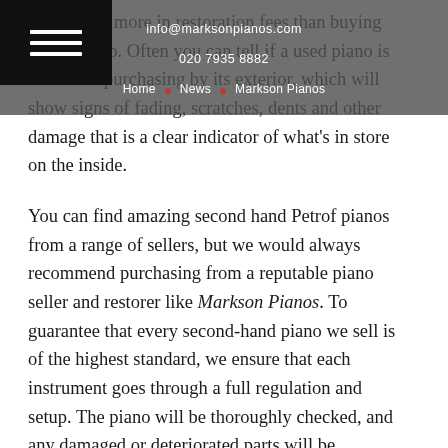info@marksonpianos.com | 020 7935 8882 | Home · News · Markson Pianos
ht cost you more in restoration fees than buying a new piano. Often you can tell if a used piano is not worth purchasing by its exterior, which will show signs of fading, scratches, dents and other damage that is a clear indicator of what's in store on the inside.
You can find amazing second hand Petrof pianos from a range of sellers, but we would always recommend purchasing from a reputable piano seller and restorer like Markson Pianos. To guarantee that every second-hand piano we sell is of the highest standard, we ensure that each instrument goes through a full regulation and setup. The piano will be thoroughly checked, and any damaged or deteriorated parts will be replaced or renewed by our team. At least two in-